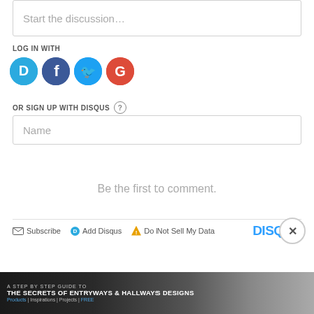Start the discussion…
LOG IN WITH
[Figure (infographic): Social login icons: Disqus (blue speech bubble with D), Facebook (dark blue circle with f), Twitter (light blue circle with bird), Google (red circle with G)]
OR SIGN UP WITH DISQUS ?
Name
Be the first to comment.
Subscribe  Add Disqus  Do Not Sell My Data   DISQUS
[Figure (infographic): Advertisement banner: A STEP BY STEP GUIDE TO THE SECRETS OF ENTRYWAYS & HALLWAYS DESIGNS. Products | Inspirations | Projects | FREE. Dark background with interior design photos.]